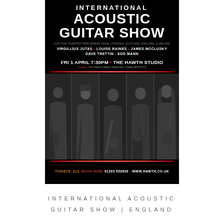INTERNATIONAL ACOUSTIC GUITAR SHOW
JOIN FIVE TALENTED PERFORMERS FROM LITHUANIA, SCOTLAND, ENGLAND, & IRELAND
VIRGILIJUS JUTAS • LOUISE RAINES • JAMES McCLUSKY
DAVE TRETTIN • EDD MANN
FRI 1 APRIL 7:30PM • THE HAWTH STUDIO
Address: The Hawth Crawley, Hawth Ave, Crawley RH10 6YZ
[Figure (photo): Black and white strip of five musicians playing guitar, performing on stage or in studio]
TICKETS: £11. BOOK NOW: 01293 553636 • WWW.HAWTH.CO.UK
INTERNATIONAL ACOUSTIC GUITAR SHOW | ENGLAND